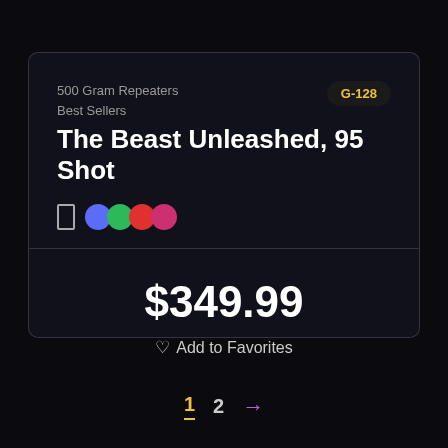500 Gram Repeaters
Best Sellers
G-128
The Beast Unleashed, 95 Shot
$349.99
Add to Favorites
1  2  →